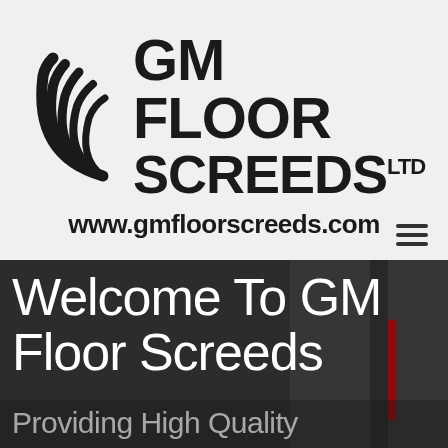[Figure (logo): GM Floor Screeds Ltd logo with swoosh/wave graphic icon and bold company name text, plus website URL www.gmfloorscreeds.com below]
Welcome To GM Floor Screeds
Providing High Quality